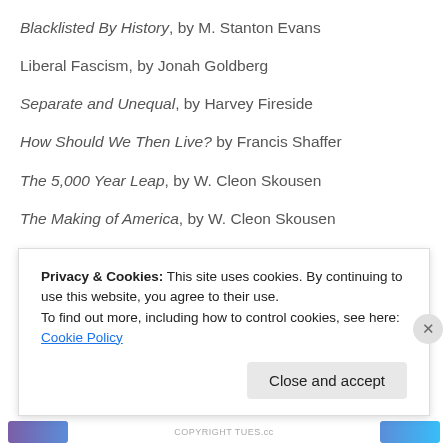Blacklisted By History, by M. Stanton Evans
Liberal Fascism, by Jonah Goldberg
Separate and Unequal, by Harvey Fireside
How Should We Then Live? by Francis Shaffer
The 5,000 Year Leap, by W. Cleon Skousen
The Making of America, by W. Cleon Skousen
Out of Time, by Alton Gansky
Vanished, by Alton Gansky
A Grief Observed, by C.S. Lewis
Privacy & Cookies: This site uses cookies. By continuing to use this website, you agree to their use. To find out more, including how to control cookies, see here: Cookie Policy
Close and accept